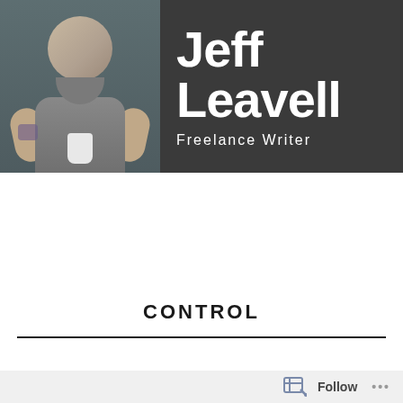[Figure (photo): Header banner showing a bald bearded man smiling, wearing a grey t-shirt, sitting with a coffee cup, with background figures in what appears to be a cafe setting. To the right is a dark grey background with the name 'Jeff Leavell' in large white bold text and 'Freelance Writer' below it.]
Jeff Leavell
Freelance Writer
[Figure (infographic): Dark navigation bar with hamburger menu icon (three horizontal lines)]
CONTROL
Follow ...